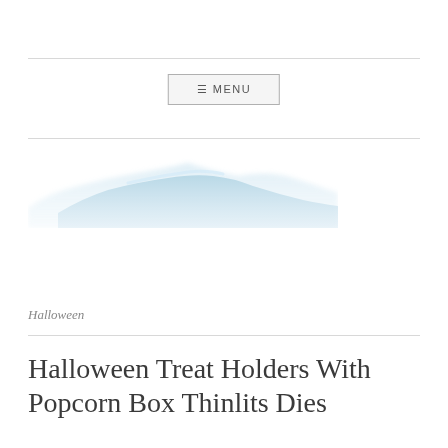☰ MENU
[Figure (illustration): A soft watercolor-style blue mountain or wave silhouette, used as a blog logo or header image]
Halloween
Halloween Treat Holders With Popcorn Box Thinlits Dies